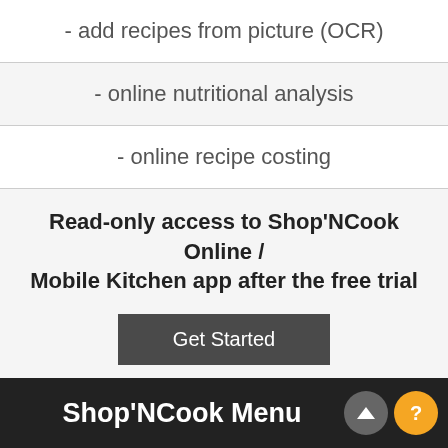- add recipes from picture (OCR)
- online nutritional analysis
- online recipe costing
Read-only access to Shop'NCook Online / Mobile Kitchen app after the free trial
Get Started
Shop'NCook Menu